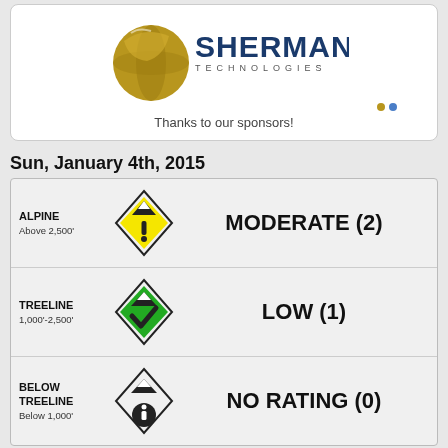[Figure (logo): Sherman Technologies logo with golden globe and dark blue text]
Thanks to our sponsors!
Sun, January 4th, 2015
| Zone | Icon | Rating |
| --- | --- | --- |
| ALPINE Above 2,500' | yellow warning diamond | MODERATE (2) |
| TREELINE 1,000'-2,500' | green check diamond | LOW (1) |
| BELOW TREELINE Below 1,000' | info diamond | NO RATING (0) |
[Figure (infographic): Avalanche danger scale legend: Low (1) green, Moderate (2) yellow, Considerable (3) orange, High (4) red, Extreme (5) black]